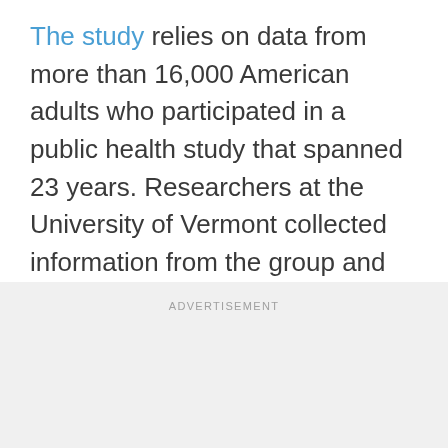The study relies on data from more than 16,000 American adults who participated in a public health study that spanned 23 years. Researchers at the University of Vermont collected information from the group and discovered that participants who reported eating hot peppers had a 13-percent reduced risk of dying early. Specifically, the peppers appeared to reduce deaths associated with heart disease and stroke.
ADVERTISEMENT